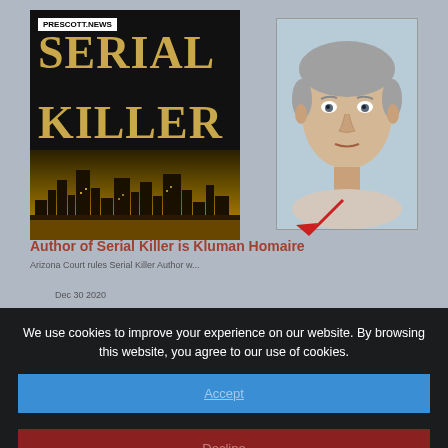[Figure (screenshot): Prescott.News website screenshot showing a book cover for 'Serial Killer' (black background with gold text and city skyline) and a man's ID/mugshot photo on the right. Partial headline text visible: 'Author of Serial Killer is Human Homaire'. A red arrow points at the man's photo. Date 'Dec 30 2020' is partially visible.]
We use cookies to improve your experience on our website. By browsing this website, you agree to our use of cookies.
Accept
Decline
More Info
Palm Santa Letter Regarding Advice, Invites Maricopa County...